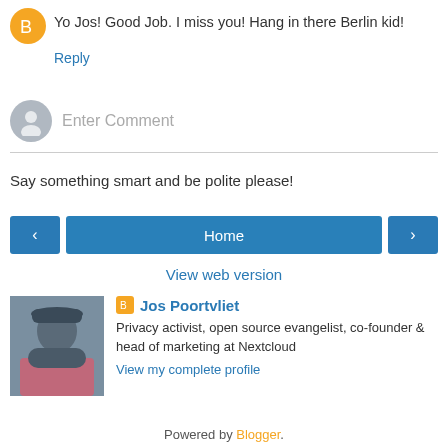Yo Jos! Good Job. I miss you! Hang in there Berlin kid!
Reply
Enter Comment
Say something smart and be polite please!
Home
View web version
Jos Poortvliet
Privacy activist, open source evangelist, co-founder & head of marketing at Nextcloud
View my complete profile
Powered by Blogger.